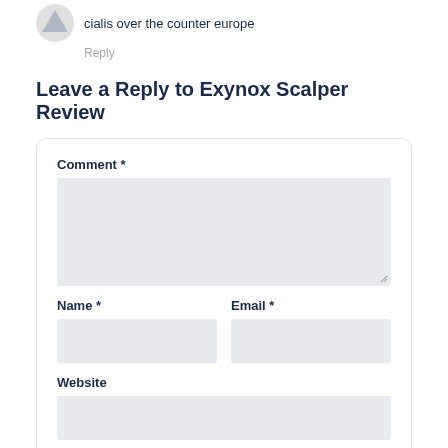cialis over the counter europe
Reply
Leave a Reply to Exynox Scalper Review
Comment *
Name *
Email *
Website
Save my name, email, and website in this browser for the next time I comment.